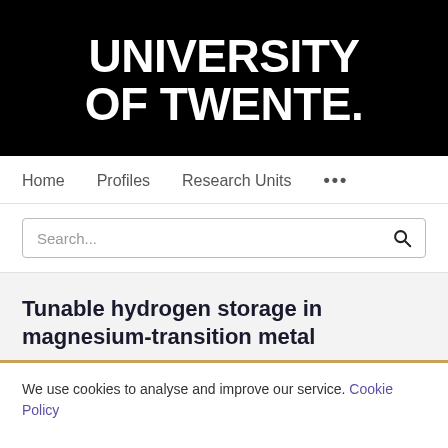[Figure (logo): University of Twente logo — white bold text on black background reading 'UNIVERSITY OF TWENTE.']
Home   Profiles   Research Units   ...
Search...
Tunable hydrogen storage in magnesium-transition metal
We use cookies to analyse and improve our service. Cookie Policy